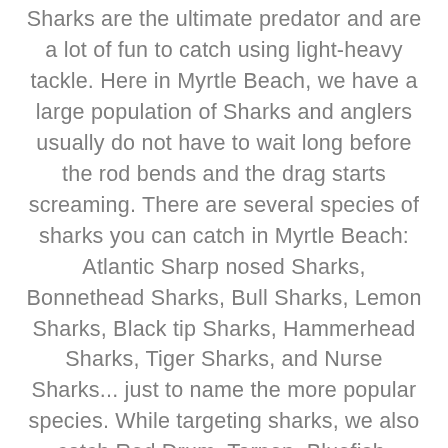Sharks are the ultimate predator and are a lot of fun to catch using light-heavy tackle. Here in Myrtle Beach, we have a large population of Sharks and anglers usually do not have to wait long before the rod bends and the drag starts screaming. There are several species of sharks you can catch in Myrtle Beach: Atlantic Sharp nosed Sharks, Bonnethead Sharks, Bull Sharks, Lemon Sharks, Black tip Sharks, Hammerhead Sharks, Tiger Sharks, and Nurse Sharks... just to name the more popular species. While targeting sharks, we also catch Red Drum, Tarpon, Bluefish, Stingrays, Cobia, and more.
WHERE WE SHARK FISH